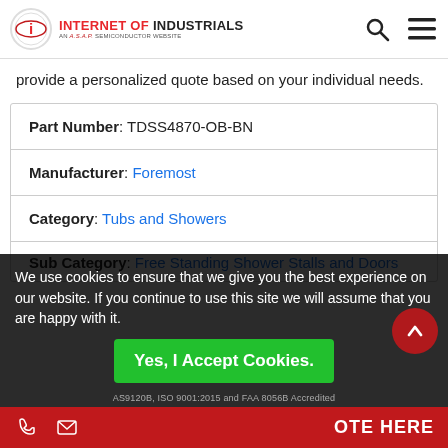INTERNET OF INDUSTRIALS AN A.S.A.P. SEMICONDUCTOR WEBSITE
provide a personalized quote based on your individual needs.
| Part Number: TDSS4870-OB-BN |
| Manufacturer: Foremost |
| Category: Tubs and Showers |
| Sub Category: Free Standing Shower Stalls and Doors |
We use cookies to ensure that we give you the best experience on our website. If you continue to use this site we will assume that you are happy with it.
Yes, I Accept Cookies.
AS9120B, ISO 9001:2015 and FAA 8056B Accredited